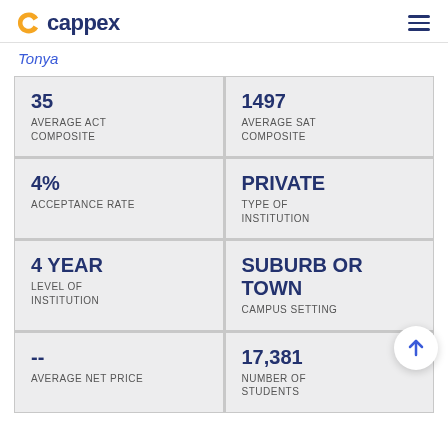cappex
Tonya
| 35
AVERAGE ACT COMPOSITE | 1497
AVERAGE SAT COMPOSITE |
| 4%
ACCEPTANCE RATE | PRIVATE
TYPE OF INSTITUTION |
| 4 YEAR
LEVEL OF INSTITUTION | SUBURB OR TOWN
CAMPUS SETTING |
| --
AVERAGE NET PRICE | 17,381
NUMBER OF STUDENTS |